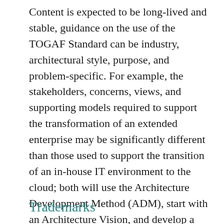Content is expected to be long-lived and stable, guidance on the use of the TOGAF Standard can be industry, architectural style, purpose, and problem-specific. For example, the stakeholders, concerns, views, and supporting models required to support the transformation of an extended enterprise may be significantly different than those used to support the transition of an in-house IT environment to the cloud; both will use the Architecture Development Method (ADM), start with an Architecture Vision, and develop a Target Architecture on the way to an Implementation and Migration Plan. The TOGAF Fundamental Content remains the essential scaffolding across industry, domain, and style.
Trademarks